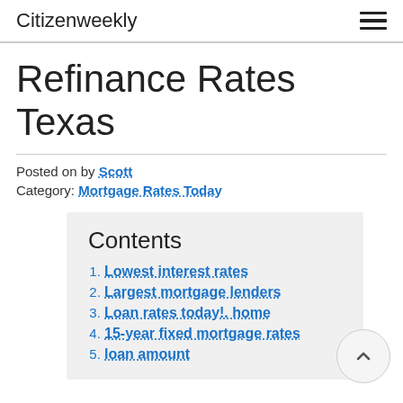Citizenweekly
Refinance Rates Texas
Posted on by Scott
Category: Mortgage Rates Today
Contents
1. Lowest interest rates
2. Largest mortgage lenders
3. Loan rates today!. home
4. 15-year fixed mortgage rates
5. loan amount